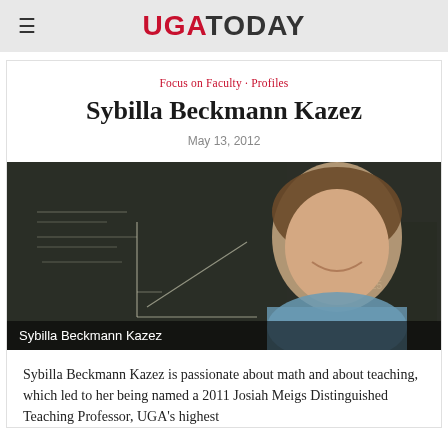UGA TODAY
Focus on Faculty · Profiles
Sybilla Beckmann Kazez
May 13, 2012
[Figure (photo): Portrait photo of Sybilla Beckmann Kazez smiling in front of a chalkboard with mathematical graphs and equations written on it.]
Sybilla Beckmann Kazez
Sybilla Beckmann Kazez is passionate about math and about teaching, which led to her being named a 2011 Josiah Meigs Distinguished Teaching Professor, UGA's highest